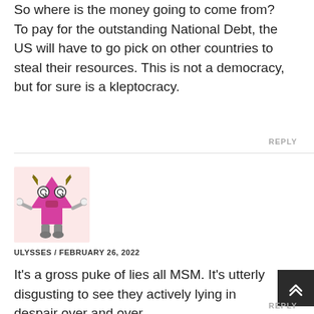So where is the money going to come from? To pay for the outstanding National Debt, the US will have to go pick on other countries to steal their resources. This is not a democracy, but for sure is a kleptocracy.
REPLY
[Figure (illustration): Cartoon avatar of a pink monster/creature with horns, spiral eyes, and raised arms on a light pink background]
ULYSSES / FEBRUARY 26, 2022
It's a gross puke of lies all MSM. It's utterly disgusting to see they actively lying in despair over and over.
REPLY